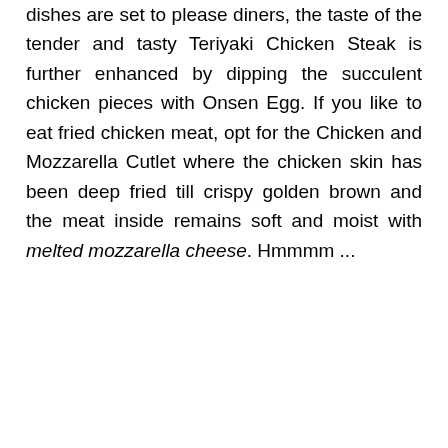dishes are set to please diners, the taste of the tender and tasty Teriyaki Chicken Steak is further enhanced by dipping the succulent chicken pieces with Onsen Egg. If you like to eat fried chicken meat, opt for the Chicken and Mozzarella Cutlet where the chicken skin has been deep fried till crispy golden brown and the meat inside remains soft and moist with melted mozzarella cheese. Hmmmm ...